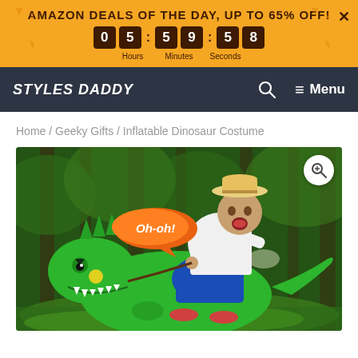AMAZON DEALS OF THE DAY, UP TO 65% OFF! 0 5 5 9 5 8 Hours Minutes Seconds
STYLES DADDY — Search — Menu
Home / Geeky Gifts / Inflatable Dinosaur Costume
[Figure (photo): Man wearing inflatable dinosaur ride-on costume in a jungle/forest setting. The man appears to be sitting on top of an inflatable green T-Rex dinosaur costume, wearing a cowboy hat and white shirt. An 'Oh-oh!' speech bubble appears in orange. A magnify/zoom icon is shown in the top right of the image.]